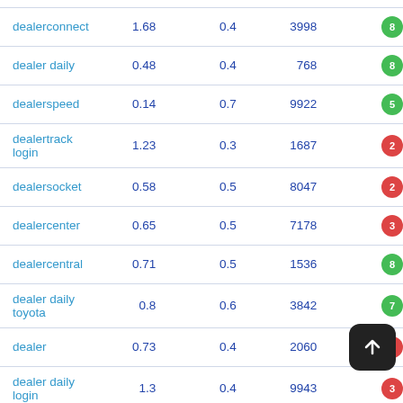| Keyword | Col1 | Col2 | Col3 | Badge |
| --- | --- | --- | --- | --- |
| dealerconnect | 1.68 | 0.4 | 3998 | 8 |
| dealer daily | 0.48 | 0.4 | 768 | 8 |
| dealerspeed | 0.14 | 0.7 | 9922 | 5 |
| dealertrack login | 1.23 | 0.3 | 1687 | 2 |
| dealersocket | 0.58 | 0.5 | 8047 | 2 |
| dealercenter | 0.65 | 0.5 | 7178 | 3 |
| dealercentral | 0.71 | 0.5 | 1536 | 8 |
| dealer daily toyota | 0.8 | 0.6 | 3842 | 7 |
| dealer | 0.73 | 0.4 | 2060 | 4 |
| dealer daily login | 1.3 | 0.4 | 9943 | 3 |
| dealersocket login | 0.83 | 0.5 | 8398 |  |
| dealerhilton... | 0.88 | 0.7 | 1500 |  |